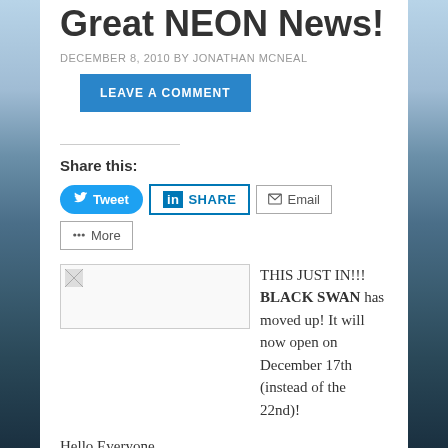Great NEON News!
DECEMBER 8, 2010 BY JONATHAN MCNEAL
LEAVE A COMMENT
Share this:
Tweet | SHARE | Email | More
[Figure (photo): Broken image placeholder thumbnail]
THIS JUST IN!!!  BLACK SWAN has moved up!  It will now open on December 17th (instead of the 22nd)!

Hello Everyone.

First off, I need to let you know that FAIR GAME